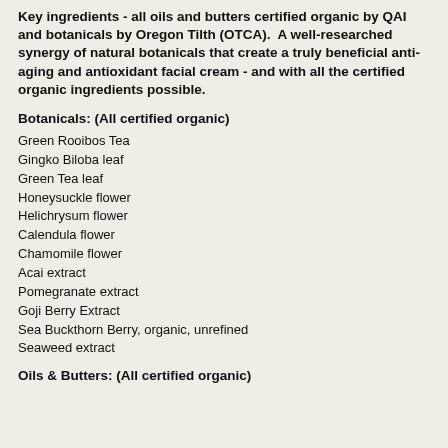Key ingredients - all oils and butters certified organic by QAI and botanicals by Oregon Tilth (OTCA). A well-researched synergy of natural botanicals that create a truly beneficial anti-aging and antioxidant facial cream - and with all the certified organic ingredients possible.
Botanicals: (All certified organic)
Green Rooibos Tea
Gingko Biloba leaf
Green Tea leaf
Honeysuckle flower
Helichrysum flower
Calendula flower
Chamomile flower
Acai extract
Pomegranate extract
Goji Berry Extract
Sea Buckthorn Berry, organic, unrefined
Seaweed extract
Oils & Butters: (All certified organic)